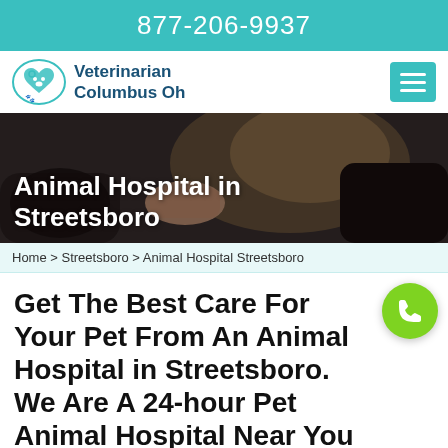877-206-9937
[Figure (logo): Veterinarian Columbus Oh logo with paw and pet icon]
[Figure (photo): Veterinarian examining a dog on a table, dark overlay background]
Animal Hospital in Streetsboro
Home > Streetsboro > Animal Hospital Streetsboro
Get The Best Care For Your Pet From An Animal Hospital in Streetsboro. We Are A 24-hour Pet Animal Hospital Near You That